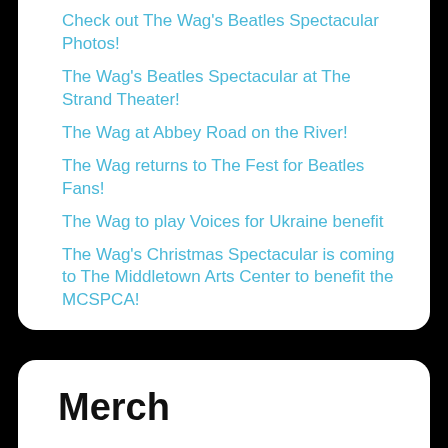Check out The Wag's Beatles Spectacular Photos!
The Wag's Beatles Spectacular at The Strand Theater!
The Wag at Abbey Road on the River!
The Wag returns to The Fest for Beatles Fans!
The Wag to play Voices for Ukraine benefit
The Wag's Christmas Spectacular is coming to The Middletown Arts Center to benefit the MCSPCA!
Merch